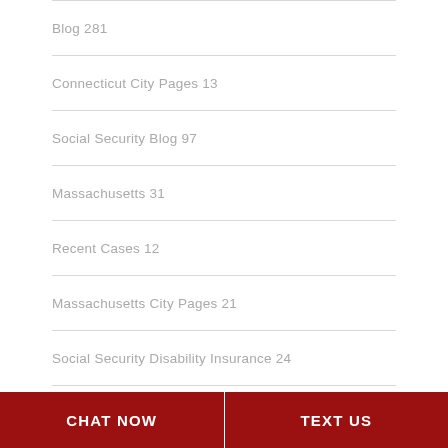Blog 281
Connecticut City Pages 13
Social Security Blog 97
Massachusetts 31
Recent Cases 12
Massachusetts City Pages 21
Social Security Disability Insurance 24
Rhode Island City Pages 24
CHAT NOW   TEXT US